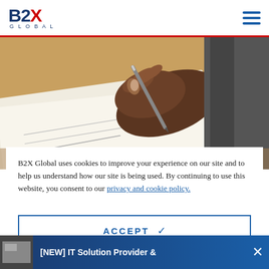B2X GLOBAL
[Figure (photo): Close-up of a dark-skinned hand writing on paper with a pen, on a wooden desk surface]
B2X Global uses cookies to improve your experience on our site and to help us understand how our site is being used. By continuing to use this website, you consent to our privacy and cookie policy.
ACCEPT ✓
[NEW] IT Solution Provider &